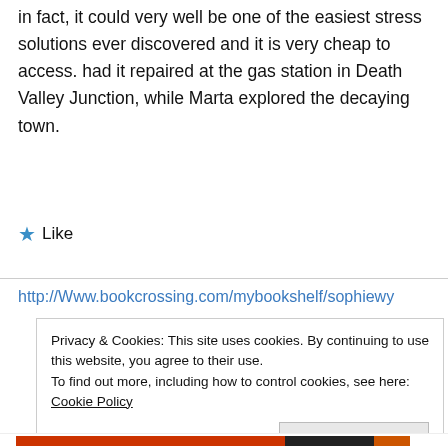in fact, it could very well be one of the easiest stress solutions ever discovered and it is very cheap to access. had it repaired at the gas station in Death Valley Junction, while Marta explored the decaying town.
★ Like
http://Www.bookcrossing.com/mybookshelf/sophiewy
Privacy & Cookies: This site uses cookies. By continuing to use this website, you agree to their use.
To find out more, including how to control cookies, see here: Cookie Policy
Close and accept